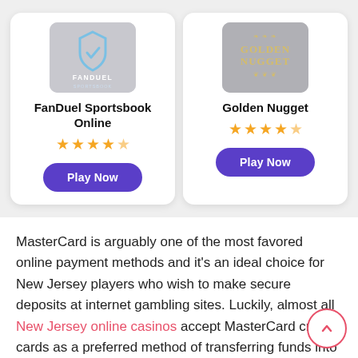[Figure (logo): FanDuel Sportsbook logo on grey background]
FanDuel Sportsbook Online
★ ★ ★ ★ ½ (4.5 stars)
Play Now
[Figure (logo): Golden Nugget logo on grey background]
Golden Nugget
★ ★ ★ ★ ½ (4.5 stars)
Play Now
MasterCard is arguably one of the most favored online payment methods and it's an ideal choice for New Jersey players who wish to make secure deposits at internet gambling sites. Luckily, almost all New Jersey online casinos accept MasterCard credit cards as a preferred method of transferring funds into your gambling account. Their cards are secure, quick, and hassle free to use, not to